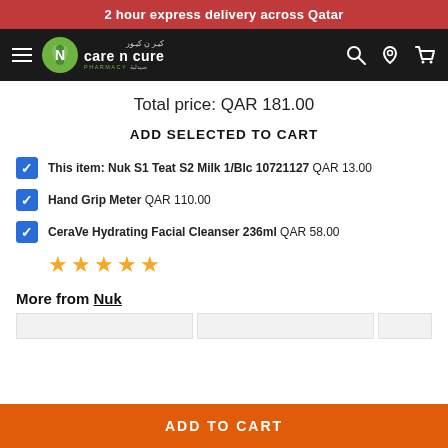2 hour express delivery across Qatar
[Figure (logo): Care n Cure Pharmacy logo with Arabic text on black navigation bar with hamburger menu, search, location, and cart icons]
Total price: QAR 181.00
ADD SELECTED TO CART
This item: Nuk S1 Teat S2 Milk 1/Blc 10721127  QAR 13.00
Hand Grip Meter  QAR 110.00
CeraVe Hydrating Facial Cleanser 236ml  QAR 58.00
★★★★★
More from Nuk
ADD TO CART